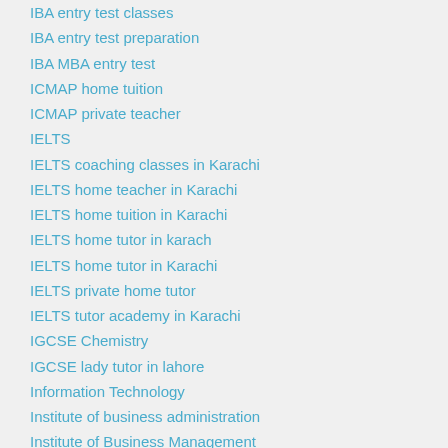IBA entry test classes
IBA entry test preparation
IBA MBA entry test
ICMAP home tuition
ICMAP private teacher
IELTS
IELTS coaching classes in Karachi
IELTS home teacher in Karachi
IELTS home tuition in Karachi
IELTS home tutor in karach
IELTS home tutor in Karachi
IELTS private home tutor
IELTS tutor academy in Karachi
IGCSE Chemistry
IGCSE lady tutor in lahore
Information Technology
Institute of business administration
Institute of Business Management
inter biology teacher in karachi
inter biology tutor in karachi
inter coaching classes in dha
inter coaching classes in gulshan
Inter Commerce Accounting Tutor in Karachi
Inter Commerce tutor